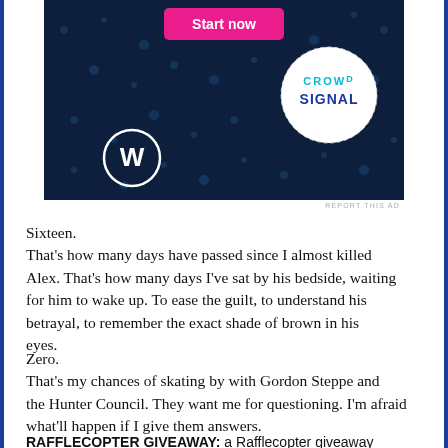[Figure (screenshot): Advertisement banner with dark navy background showing a pink 'Start now' button, WordPress logo on the left, and Crowdsignal circular logo on the right with dotted pattern background.]
REPORT THIS AD
Sixteen.
That's how many days have passed since I almost killed Alex. That's how many days I've sat by his bedside, waiting for him to wake up. To ease the guilt, to understand his betrayal, to remember the exact shade of brown in his eyes.
Zero.
That's my chances of skating by with Gordon Steppe and the Hunter Council. They want me for questioning. I'm afraid what'll happen if I give them answers.
RAFFLECOPTER GIVEAWAY: a Rafflecopter giveaway